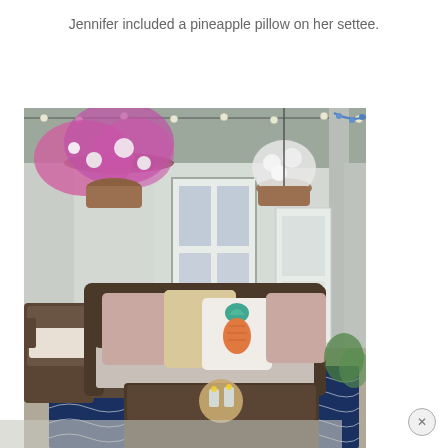Jennifer included a pineapple pillow on her settee.
[Figure (photo): Outdoor porch/patio scene with dark wicker settee (loveseat) holding pink pillows, a cream textured pillow, and a white pineapple-motif pillow with teal and orange illustration. A wicker coffee table sits in front with a tray of glasses. Hanging baskets of pink and white flowers decorate the porch. A wicker chair is visible at left. Navy and white geometric patterned outdoor rug on the ground. String lights hang overhead. White house siding and a glass-panel door in background.]